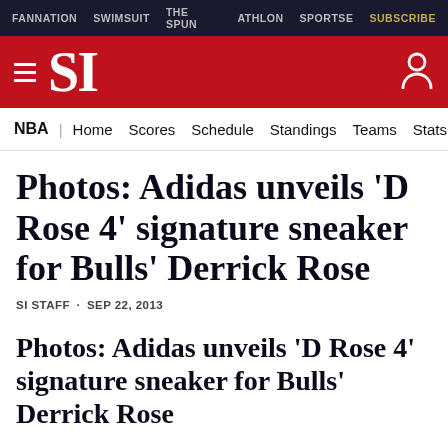FANNATION  SWIMSUIT  THE SPUN  ATHLON  SPORTSE  SUBSCRIBE
SI
NBA | Home  Scores  Schedule  Standings  Teams  Stats
Photos: Adidas unveils 'D Rose 4' signature sneaker for Bulls' Derrick Rose
SI STAFF · SEP 22, 2013
Photos: Adidas unveils 'D Rose 4' signature sneaker for Bulls' Derrick Rose